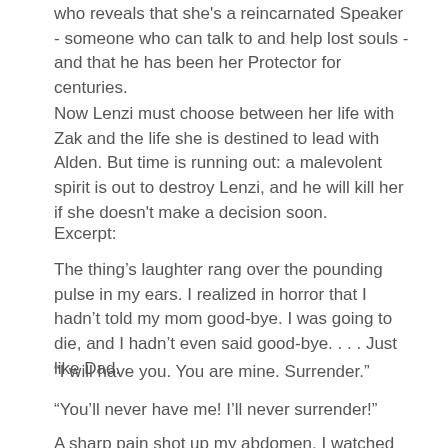who reveals that she's a reincarnated Speaker - someone who can talk to and help lost souls - and that he has been her Protector for centuries.
Now Lenzi must choose between her life with Zak and the life she is destined to lead with Alden. But time is running out: a malevolent spirit is out to destroy Lenzi, and he will kill her if she doesn't make a decision soon.
Excerpt:
The thing's laughter rang over the pounding pulse in my ears. I realized in horror that I hadn't told my mom good-bye. I was going to die, and I hadn't even said good-bye. . . . Just like Dad.
“I will have you. You are mine. Surrender.”
“You'll never have me! I'll never surrender!”
A sharp pain shot up my abdomen. I watched as